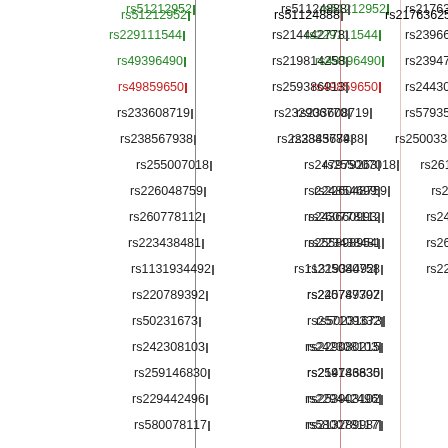[Figure (other): Genomic variant identifiers (rsIDs) arranged in three columns with vertical colored lines separating them. Some identifiers are colored green (rs51212952, rs229111544, rs49396490) or red (rs49859650), the rest are black. Each rsID is followed by a small vertical bar marker.]